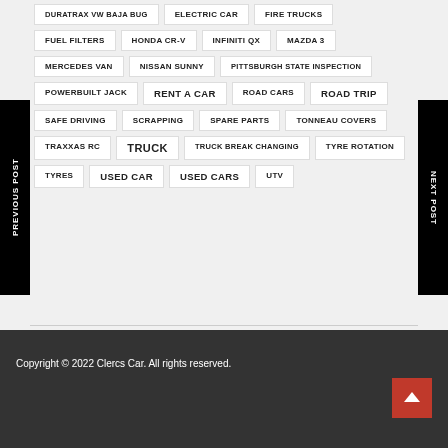DURATRAX VW BAJA BUG
ELECTRIC CAR
FIRE TRUCKS
FUEL FILTERS
HONDA CR-V
INFINITI QX
MAZDA 3
MERCEDES VAN
NISSAN SUNNY
PITTSBURGH STATE INSPECTION
POWERBUILT JACK
RENT A CAR
ROAD CARS
ROAD TRIP
SAFE DRIVING
SCRAPPING
SPARE PARTS
TONNEAU COVERS
TRAXXAS RC
TRUCK
TRUCK BREAK CHANGING
TYRE ROTATION
TYRES
USED CAR
USED CARS
UTV
Copyright © 2022 Clercs Car. All rights reserved.